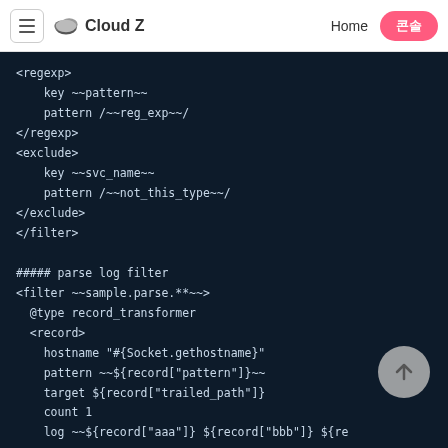Cloud Z  Home  콘솔
<regexp>
    key ~~pattern~~
    pattern /~~reg_exp~~/
</regexp>
<exclude>
    key ~~svc_name~~
    pattern /~~not_this_type~~/
</exclude>
</filter>

##### parse log filter
<filter ~~sample.parse.**~~>
  @type record_transformer
  <record>
    hostname "#{Socket.gethostname}"
    pattern ~~${record["pattern"]}~~
    target ${record["trailed_path"]}
    count 1
    log ~~${record["aaa"]} ${record["bbb"]} ${re